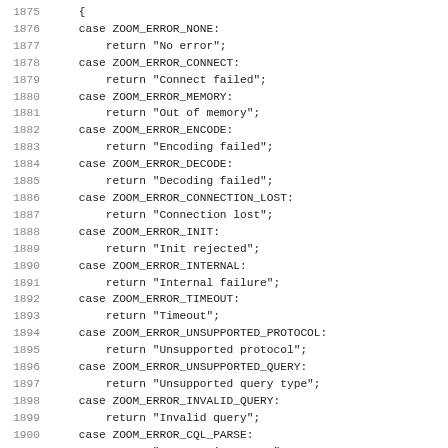Code listing lines 1875-1907 showing C switch-case statements for ZOOM error codes and their return string values.